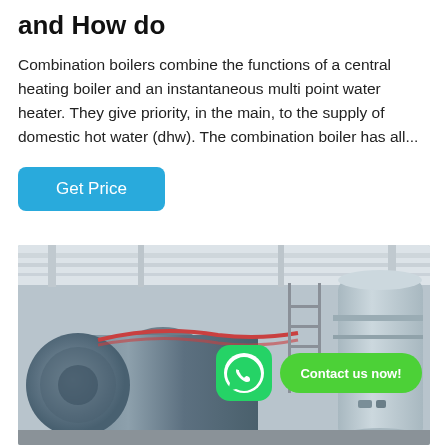and How do
Combination boilers combine the functions of a central heating boiler and an instantaneous multi point water heater. They give priority, in the main, to the supply of domestic hot water (dhw). The combination boiler has all...
Get Price
[Figure (photo): Industrial boiler room with large horizontal cylindrical boilers, red pipes, and metal scaffolding. WhatsApp contact overlay with 'Contact us now!' badge visible in the image.]